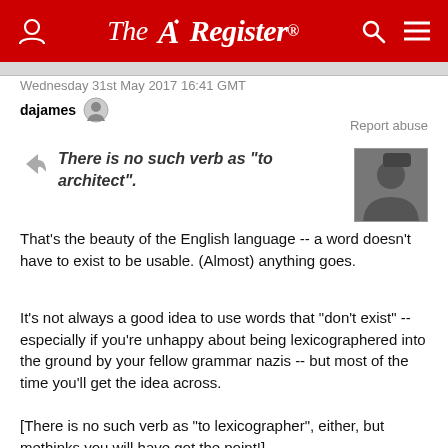The Register
Wednesday 31st May 2017 16:41 GMT
dajames
Report abuse
There is no such verb as "to architect".
That's the beauty of the English language -- a word doesn't have to exist to be usable. (Almost) anything goes.
It's not always a good idea to use words that "don't exist" -- especially if you're unhappy about being lexicographered into the ground by your fellow grammar nazis -- but most of the time you'll get the idea across.
[There is no such verb as "to lexicographer", either, but methinks you will have got the point!]